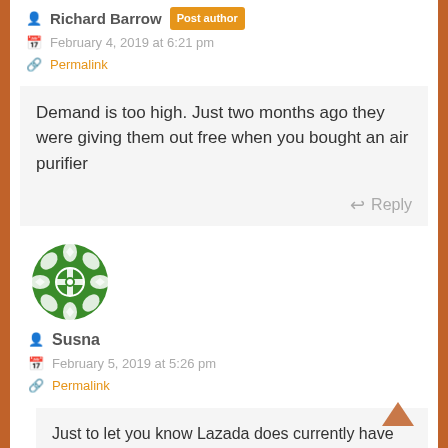Richard Barrow Post author
February 4, 2019 at 6:21 pm
Permalink
Demand is too high. Just two months ago they were giving them out free when you bought an air purifier
Reply
[Figure (illustration): Green decorative avatar/icon for user Susna]
Susna
February 5, 2019 at 5:26 pm
Permalink
Just to let you know Lazada does currently have the replacement filters in stock – got my order through